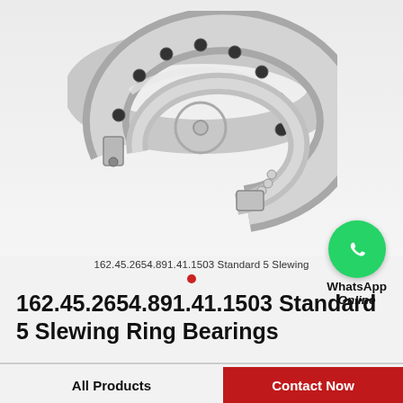[Figure (photo): 3D rendered image of a slewing ring bearing — a large C-shaped (horseshoe) metallic ring bearing with bolt holes around the flange, showing internal ball bearing elements and a cutaway view revealing the rolling elements inside, on a light grey background.]
[Figure (logo): WhatsApp green circle icon with white phone handset symbol, with text 'WhatsApp Online' below it.]
162.45.2654.891.41.1503 Standard 5 Slewing
162.45.2654.891.41.1503 Standard 5 Slewing Ring Bearings
All Products   Contact Now